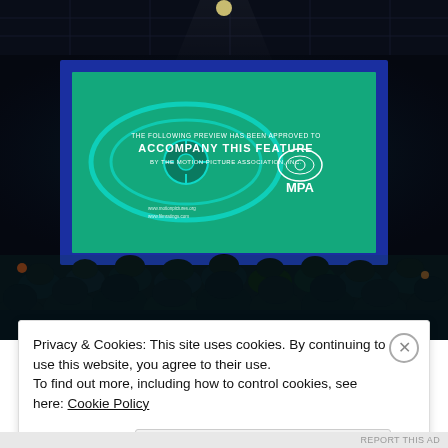[Figure (photo): A dark movie theater interior showing a large cinema screen displaying the MPA green band trailer approval screen ('The following preview has been approved to accompany this feature by the Motion Picture Association, Inc. MPA'). The audience silhouettes are visible in the foreground, and the ceiling with dim lights is visible at the top.]
Privacy & Cookies: This site uses cookies. By continuing to use this website, you agree to their use. To find out more, including how to control cookies, see here: Cookie Policy
Close and accept
REPORT THIS AD